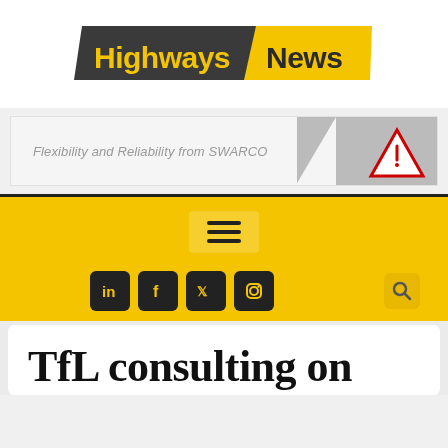[Figure (logo): Highways News logo — 'Highways' in yellow text on dark grey parallelogram, 'News' in dark text on yellow parallelogram]
[Figure (infographic): Advertisement banner: 'Flexibility and Reliability from SWARCO' with a road warning sign image on the right]
[Figure (screenshot): Yellow navigation bar with hamburger menu icon and social media icons (LinkedIn, Facebook, Twitter, Instagram) and search icon]
TfL consulting on